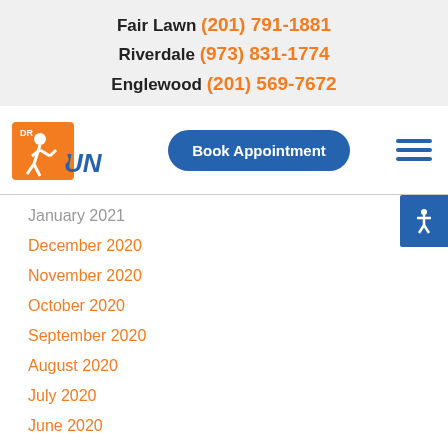Fair Lawn (201) 791-1881
Riverdale (973) 831-1774
Englewood (201) 569-7672
[Figure (logo): Dr. Run logo with orange running figure and blue RUN text]
Book Appointment
January 2021
December 2020
November 2020
October 2020
September 2020
August 2020
July 2020
June 2020
May 2020
April 2020